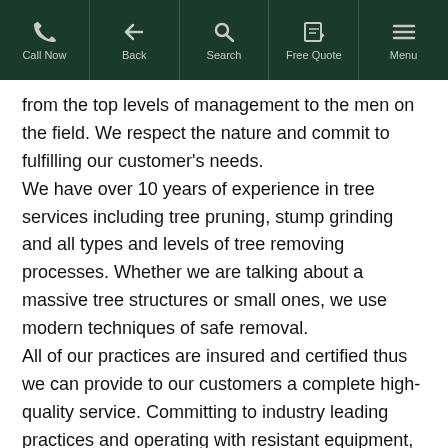Call Now | Back | Search | Free Quote | Menu
from the top levels of management to the men on the field. We respect the nature and commit to fulfilling our customer's needs.
We have over 10 years of experience in tree services including tree pruning, stump grinding and all types and levels of tree removing processes. Whether we are talking about a massive tree structures or small ones, we use modern techniques of safe removal.
All of our practices are insured and certified thus we can provide to our customers a complete high-quality service. Committing to industry leading practices and operating with resistant equipment, High Point Trees delivers daily a competitive customer service. We constantly improve the skills